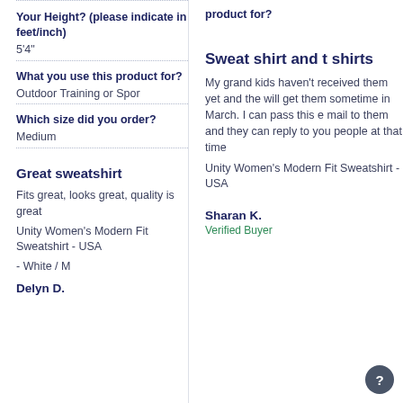Your Height? (please indicate in feet/inch)
5'4"
What you use this product for?
Outdoor Training or Spor
Which size did you order?
Medium
Great sweatshirt
Fits great, looks great, quality is great
Unity Women's Modern Fit Sweatshirt - USA
- White / M
Delyn D.
product for?
Sweat shirt and t shirts
My grand kids haven't received them yet and the will get them sometime in March. I can pass this e mail to them and they can reply to you people at that time
Unity Women's Modern Fit Sweatshirt - USA
Sharan K.
Verified Buyer